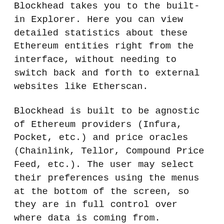Blockhead takes you to the built-in Explorer. Here you can view detailed statistics about these Ethereum entities right from the interface, without needing to switch back and forth to external websites like Etherscan.
Blockhead is built to be agnostic of Ethereum providers (Infura, Pocket, etc.) and price oracles (Chainlink, Tellor, Compound Price Feed, etc.). The user may select their preferences using the menus at the bottom of the screen, so they are in full control over where data is coming from.
The final part of my project idea (that I wish I had time to implement) is a blockchain metaverse. Every entity and transaction